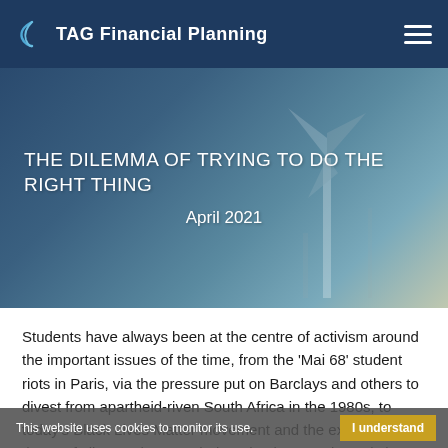TAG Financial Planning
[Figure (photo): Hero banner with wind turbines and misty landscape background, dark blue gradient overlay]
THE DILEMMA OF TRYING TO DO THE RIGHT THING
April 2021
Students have always been at the centre of activism around the important issues of the time, from the 'Mai 68' student riots in Paris, via the pressure put on Barclays and others to divest from apartheid-riven South Africa in the 1980s, to today's Black Lives Matter movement and the existential threat of climate change. Their enthusiasm and conviction can often act as a powerful catalyst for change. Sometimes,
This website uses cookies to monitor its use.